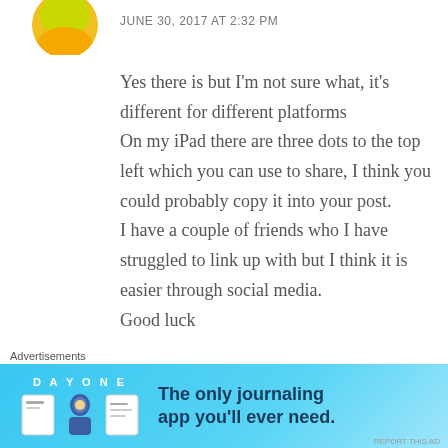JUNE 30, 2017 AT 2:32 PM
Yes there is but I'm not sure what, it's different for different platforms
On my iPad there are three dots to the top left which you can use to share, I think you could probably copy it into your post.
I have a couple of friends who I have struggled to link up with but I think it is easier through social media.
Good luck
Like
Advertisements
[Figure (screenshot): Day One app advertisement banner: 'The only journaling app you'll ever need.']